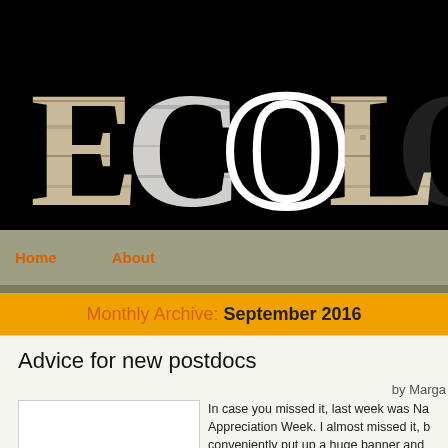[Figure (logo): Website header with 'ECOLOG' text in birch bark texture on black background]
Home   About
Monthly Archive: September 2016
Advice for new postdocs
by Marga
In case you missed it, last week was Na Appreciation Week. I almost missed it, b conveniently put up a huge banner and food (Super yummy Mexican food this...